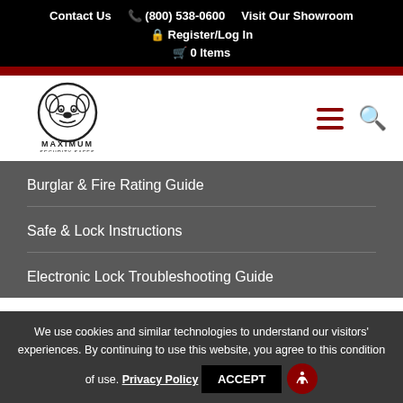Contact Us  (800) 538-0600  Visit Our Showroom  Register/Log In  0 Items
[Figure (logo): Maximum Security Safes logo with bulldog mascot inside a circle]
Burglar & Fire Rating Guide
Safe & Lock Instructions
Electronic Lock Troubleshooting Guide
We use cookies and similar technologies to understand our visitors' experiences. By continuing to use this website, you agree to this condition of use. Privacy Policy  ACCEPT